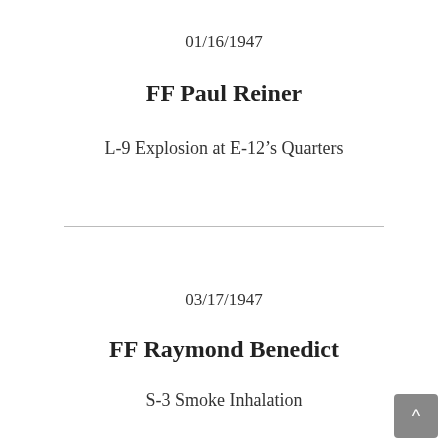01/16/1947
FF Paul Reiner
L-9 Explosion at E-12’s Quarters
03/17/1947
FF Raymond Benedict
S-3 Smoke Inhalation